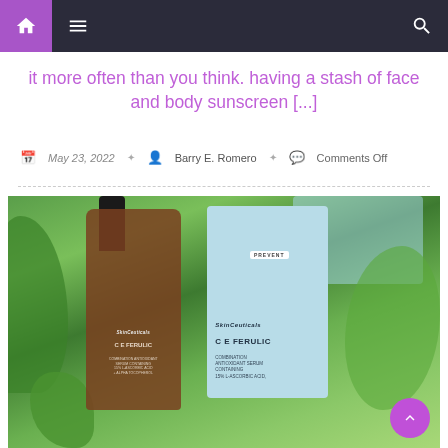Navigation bar with home, menu, and search icons
it more often than you think. having a stash of face and body sunscreen [...]
May 23, 2022   Barry E. Romero   Comments Off
[Figure (photo): Photo of SkinCeuticals C E Ferulic serum bottle and box placed outdoors in front of green leafy plants. The brown dropper bottle is on the left and the light blue product box is on the right. The box reads PREVENT, SkinCeuticals, C E Ferulic, Combination Antioxidant Serum Containing 15% L-Ascorbic Acid.]